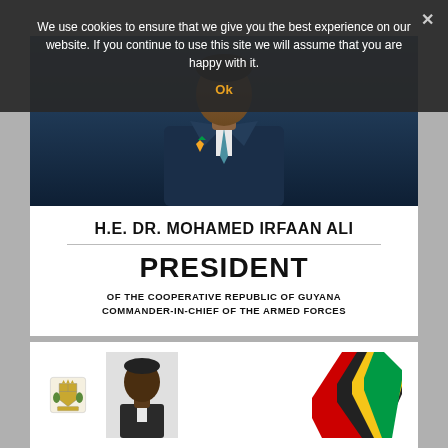We use cookies to ensure that we give you the best experience on our website. If you continue to use this site we will assume that you are happy with it.
Ok
[Figure (photo): Portrait photo of H.E. Dr. Mohamed Irfaan Ali in a blue suit with a tie, with a Guyanese flag pin on his lapel]
H.E. DR. MOHAMED IRFAAN ALI
PRESIDENT
OF THE COOPERATIVE REPUBLIC OF GUYANA
COMMANDER-IN-CHIEF OF THE ARMED FORCES
[Figure (photo): Second card showing a coat of arms of Guyana on the left, a portrait of a person in the center, and diagonal colored flag stripes (red, black, yellow, green) on the right]